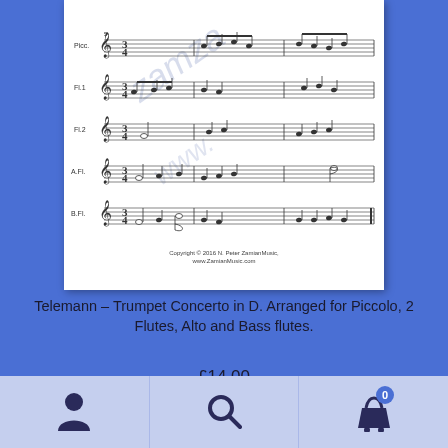[Figure (illustration): Sheet music score preview showing multiple staves for Piccolo, Flute 1, Flute 2, Alto Flute, and Bass Flute with musical notation. Contains watermark text and copyright notice: 'Copyright © 2016 N. Peter ZamianMusic, www.ZamianMusic.com']
Telemann – Trumpet Concerto in D. Arranged for Piccolo, 2 Flutes, Alto and Bass flutes.
£14.00
Add to basket